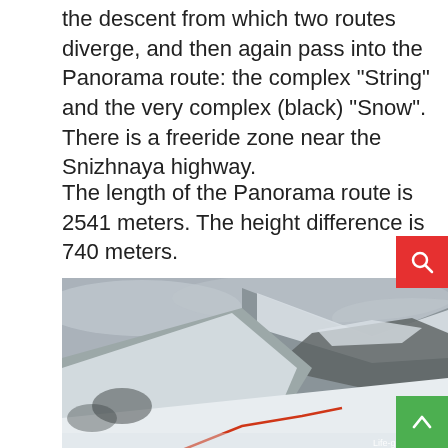the descent from which two routes diverge, and then again pass into the Panorama route: the complex "String" and the very complex (black) "Snow". There is a freeride zone near the Snizhnaya highway.
The length of the Panorama route is 2541 meters. The height difference is 740 meters.
[Figure (photo): Snowy mountain landscape with rocky cliffs, overcast sky, and a ski slope with a red marker line. Watermark: Life-globe.com]